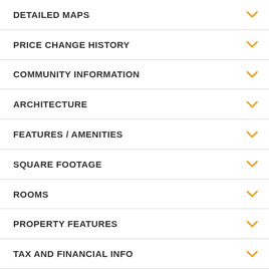DETAILED MAPS
PRICE CHANGE HISTORY
COMMUNITY INFORMATION
ARCHITECTURE
FEATURES / AMENITIES
SQUARE FOOTAGE
ROOMS
PROPERTY FEATURES
TAX AND FINANCIAL INFO